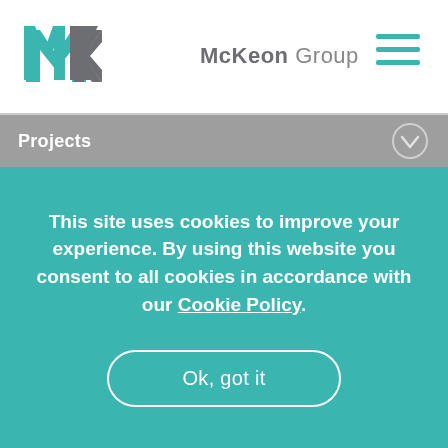[Figure (logo): McKeon Group logo with teal MK lettermark and gray text 'McKeon Group']
[Figure (other): Hamburger menu icon (three horizontal lines) in teal]
Projects
This site uses cookies to improve your experience. By using this website you consent to all cookies in accordance with our Cookie Policy.
Ok, got it